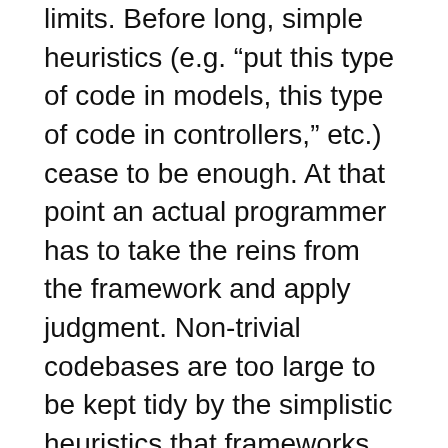limits. Before long, simple heuristics (e.g. “put this type of code in models, this type of code in controllers,” etc.) cease to be enough. At that point an actual programmer has to take the reins from the framework and apply judgment. Non-trivial codebases are too large to be kept tidy by the simplistic heuristics that frameworks are able to provide.
If “more framework” and libraries and gems aren’t the answer, what is the answer, exactly? That’s basically the same question as “how do I write good code?” People have of course written many books attempting to help answer that question. There’s a lot to it. Learning the answer takes years.
To me, writing good code has to do with choosing